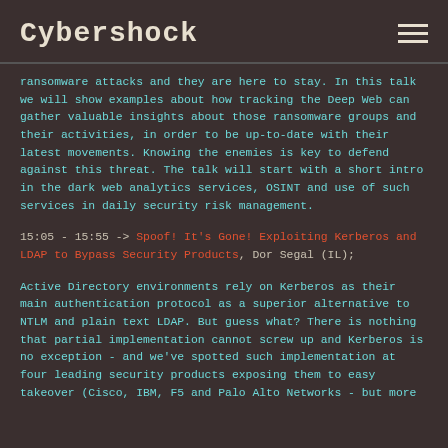Cybershock
ransomware attacks and they are here to stay. In this talk we will show examples about how tracking the Deep Web can gather valuable insights about those ransomware groups and their activities, in order to be up-to-date with their latest movements. Knowing the enemies is key to defend against this threat. The talk will start with a short intro in the dark web analytics services, OSINT and use of such services in daily security risk management.
15:05 - 15:55 -> Spoof! It's Gone! Exploiting Kerberos and LDAP to Bypass Security Products, Dor Segal (IL);
Active Directory environments rely on Kerberos as their main authentication protocol as a superior alternative to NTLM and plain text LDAP. But guess what? There is nothing that partial implementation cannot screw up and Kerberos is no exception - and we've spotted such implementation at four leading security products exposing them to easy takeover (Cisco, IBM, F5 and Palo Alto Networks - but more